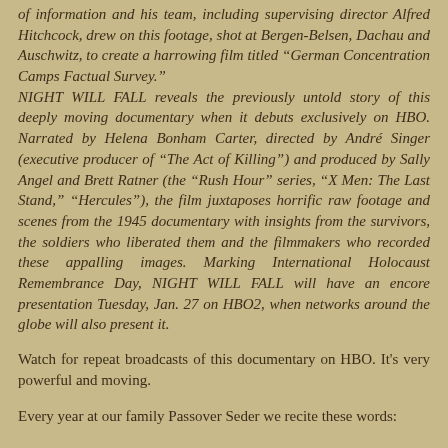of information and his team, including supervising director Alfred Hitchcock, drew on this footage, shot at Bergen-Belsen, Dachau and Auschwitz, to create a harrowing film titled “German Concentration Camps Factual Survey.” NIGHT WILL FALL reveals the previously untold story of this deeply moving documentary when it debuts exclusively on HBO. Narrated by Helena Bonham Carter, directed by André Singer (executive producer of “The Act of Killing”) and produced by Sally Angel and Brett Ratner (the “Rush Hour” series, “X Men: The Last Stand,” “Hercules”), the film juxtaposes horrific raw footage and scenes from the 1945 documentary with insights from the survivors, the soldiers who liberated them and the filmmakers who recorded these appalling images. Marking International Holocaust Remembrance Day, NIGHT WILL FALL will have an encore presentation Tuesday, Jan. 27 on HBO2, when networks around the globe will also present it.
Watch for repeat broadcasts of this documentary on HBO. It’s very powerful and moving.
Every year at our family Passover Seder we recite these words: